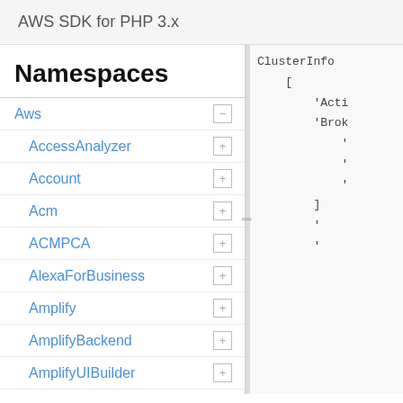AWS SDK for PHP 3.x
Namespaces
Aws
AccessAnalyzer
Account
Acm
ACMPCA
AlexaForBusiness
Amplify
AmplifyBackend
AmplifyUIBuilder
Api
ApiGateway
ApiGatewayManagementApi
[Figure (screenshot): Code snippet showing PHP array syntax with ClusterInfo, 'Acti', 'Brok' keys and bracket notation]